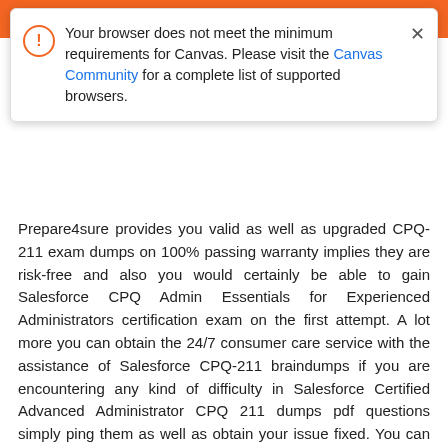D... Questions & A...
Your browser does not meet the minimum requirements for Canvas. Please visit the Canvas Community for a complete list of supported browsers.
Prepare4sure provides you valid as well as upgraded CPQ-211 exam dumps on 100% passing warranty implies they are risk-free and also you would certainly be able to gain Salesforce CPQ Admin Essentials for Experienced Administrators certification exam on the first attempt. A lot more you can obtain the 24/7 consumer care service with the assistance of Salesforce CPQ-211 braindumps if you are encountering any kind of difficulty in Salesforce Certified Advanced Administrator CPQ 211 dumps pdf questions simply ping them as well as obtain your issue fixed. You can additionally get the complimentary superior CPQ-211 dumps pdf updates on Salesforce CPQ Admin Essentials for Experienced Administrators dumps as much as one year.